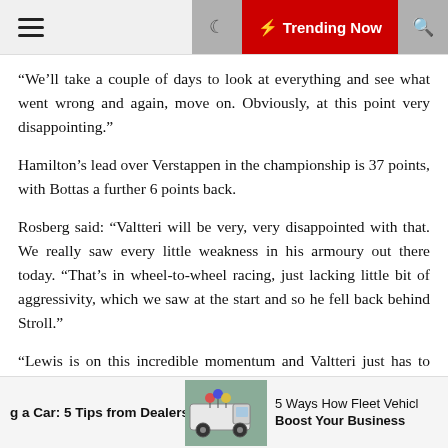Trending Now
“We’ll take a couple of days to look at everything and see what went wrong and again, move on. Obviously, at this point very disappointing.”
Hamilton’s lead over Verstappen in the championship is 37 points, with Bottas a further 6 points back.
Rosberg said: “Valtteri will be very, very disappointed with that. We really saw every little weakness in his armoury out there today. “That’s in wheel-to-wheel racing, just lacking little bit of aggressivity, which we saw at the start and so he fell back behind Stroll.”
“Lewis is on this incredible momentum and Valtteri just has to find a way to put that to an end with a bang and put in a string of results.”
g a Car: 5 Tips from Dealerships | 5 Ways How Fleet Vehicles Boost Your Business